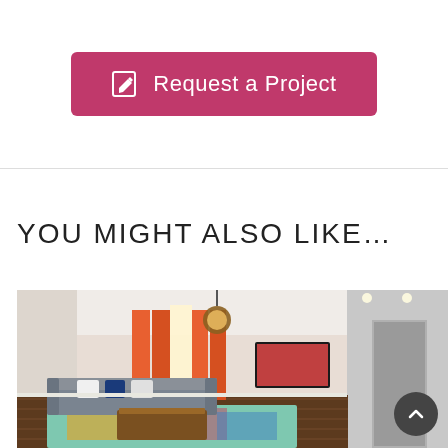[Figure (other): Pink/magenta 'Request a Project' button with pencil/edit icon on white background with light grey border]
YOU MIGHT ALSO LIKE...
[Figure (photo): Interior living room photo showing grey sofa, colorful rug, wooden coffee table, orange curtains, pendant light fixture, wall-mounted TV, white walls and high ceilings]